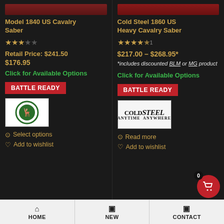[Figure (screenshot): Product image strip for Model 1840 US Cavalry Saber]
Model 1840 US Cavalry Saber
[Figure (other): 3-star rating (3 filled, 2 empty stars)]
Retail Price: $241.50
$176.95
Click for Available Options
BATTLE READY
[Figure (logo): Green circular emblem/badge logo]
Select options
Add to wishlist
[Figure (screenshot): Product image strip for Cold Steel 1860 US Heavy Cavalry Saber]
Cold Steel 1860 US Heavy Cavalry Saber
[Figure (other): 4.5-star rating (4.5 filled, 0.5 empty stars)]
$217.00 – $268.95*
*includes discounted BLM or MG product
Click for Available Options
BATTLE READY
[Figure (logo): Cold Steel Anytime Anywhere logo]
Read more
Add to wishlist
HOME   NEW   CONTACT